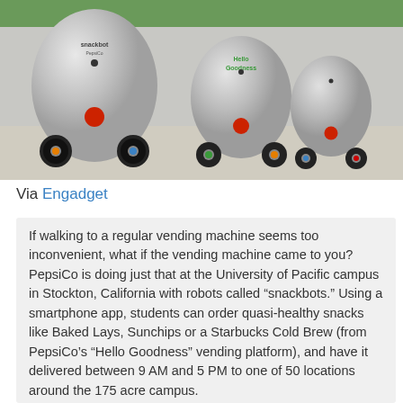[Figure (photo): Photo of three silver snackbot delivery robots lined up on a pavement path, each with colored wheels and red/orange dots. The front robot has 'snackbot' branding, the second shows 'Hello Goodness' branding.]
Via Engadget
If walking to a regular vending machine seems too inconvenient, what if the vending machine came to you? PepsiCo is doing just that at the University of Pacific campus in Stockton, California with robots called “snackbots.” Using a smartphone app, students can order quasi-healthy snacks like Baked Lays, Sunchips or a Starbucks Cold Brew (from PepsiCo’s “Hello Goodness” vending platform), and have it delivered between 9 AM and 5 PM to one of 50 locations around the 175 acre campus.